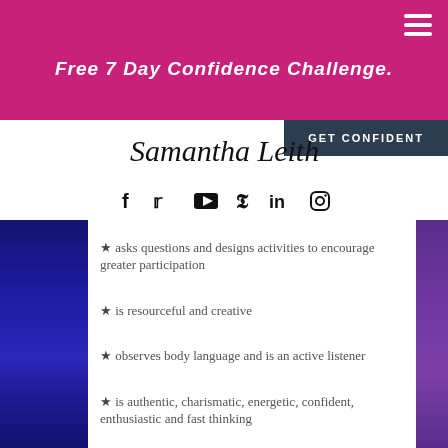Free 7 Day Confidence Challenge.
GET CONFIDENT
[Figure (logo): Samantha Leith cursive signature logo]
[Figure (infographic): Social media icons: Facebook, Twitter, YouTube, Pinterest, LinkedIn, Instagram]
★ asks questions and designs activities to encourage greater participation
★ is resourceful and creative
★ observes body language and is an active listener
★ is authentic, charismatic, energetic, confident, enthusiastic and fast thinking